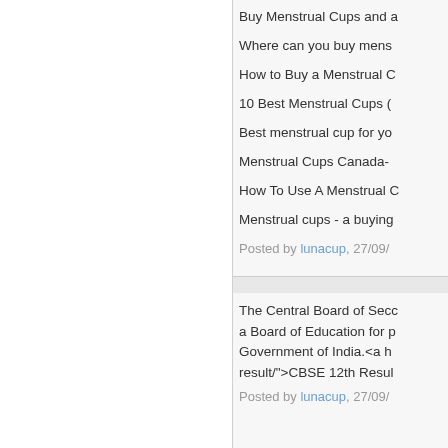Buy Menstrual Cups and a
Where can you buy mens
How to Buy a Menstrual C
10 Best Menstrual Cups (
Best menstrual cup for yo
Menstrual Cups Canada-
How To Use A Menstrual C
Menstrual cups - a buying
Posted by lunacup, 27/09/
The Central Board of Secc a Board of Education for p Government of India.<a h result/">CBSE 12th Resul
Posted by all lunacup, 27/09/